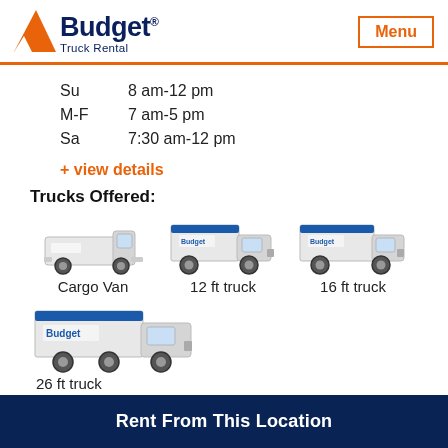Budget Truck Rental | Menu
| Day | Hours |
| --- | --- |
| Su | 8 am-12 pm |
| M-F | 7 am-5 pm |
| Sa | 7:30 am-12 pm |
+ view details
Trucks Offered:
[Figure (illustration): Cargo Van vehicle image]
Cargo Van
[Figure (illustration): 12 ft truck vehicle image]
12 ft truck
[Figure (illustration): 16 ft truck vehicle image]
16 ft truck
[Figure (illustration): 26 ft truck vehicle image]
26 ft truck
Rent From This Location